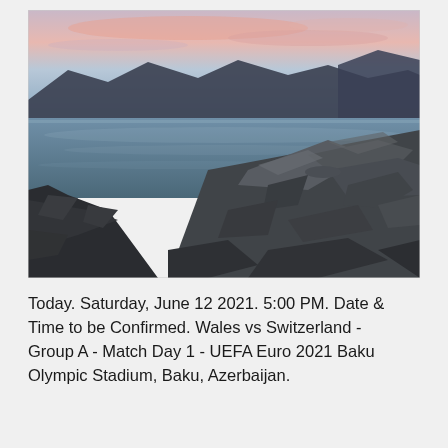[Figure (photo): Landscape photograph of a rocky coastline at sunset/dusk. Dark jagged rocks fill the foreground and right side, with a calm body of water reflecting soft blue-violet light in the middle ground, and mountains silhouetted against a pink and lavender sky in the background.]
Today. Saturday, June 12 2021. 5:00 PM. Date & Time to be Confirmed. Wales vs Switzerland - Group A - Match Day 1 - UEFA Euro 2021 Baku Olympic Stadium, Baku, Azerbaijan.